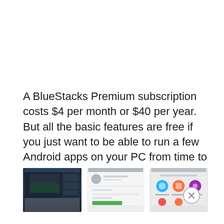A BlueStacks Premium subscription costs $4 per month or $40 per year. But all the basic features are free if you just want to be able to run a few Android apps on your PC from time to time.
[Figure (screenshot): Three screenshots of BlueStacks app interface showing: 1) A dark gaming interface with game thumbnails, 2) A user profile/account settings page with a green button, 3) An app/settings page with colorful circular icons]